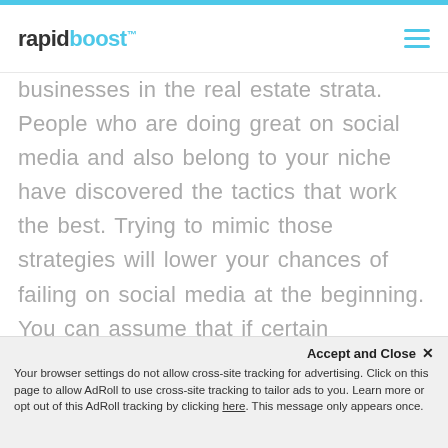rapidboost™
businesses in the real estate strata. People who are doing great on social media and also belong to your niche have discovered the tactics that work the best. Trying to mimic those strategies will lower your chances of failing on social media at the beginning. You can assume that if certain strategies are working for your competitors and realtors otherwise, they MAY work in your favour too. But success then depends on a lot of factors. The location you
Accept and Close ✕ Your browser settings do not allow cross-site tracking for advertising. Click on this page to allow AdRoll to use cross-site tracking to tailor ads to you. Learn more or opt out of this AdRoll tracking by clicking here. This message only appears once.